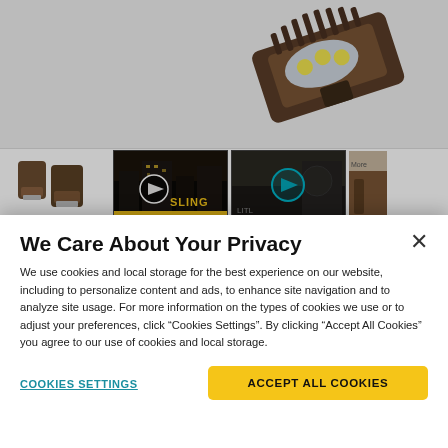[Figure (photo): Background webpage showing LED lighting fixtures and product thumbnail images, partially obscured by privacy modal]
We Care About Your Privacy
We use cookies and local storage for the best experience on our website, including to personalize content and ads, to enhance site navigation and to analyze site usage. For more information on the types of cookies we use or to adjust your preferences, click “Cookies Settings”. By clicking “Accept All Cookies” you agree to our use of cookies and local storage.
COOKIES SETTINGS
ACCEPT ALL COOKIES